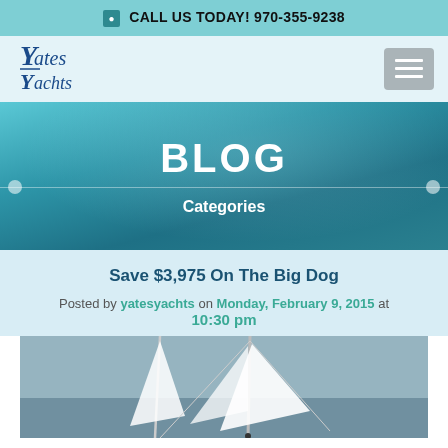CALL US TODAY! 970-355-9238
[Figure (logo): Yates Yachts cursive script logo in dark blue]
BLOG
Categories
Save $3,975 On The Big Dog
Posted by yatesyachts on Monday, February 9, 2015 at 10:30 pm
[Figure (photo): Sailing yacht with white sails on grey water, viewed from front]